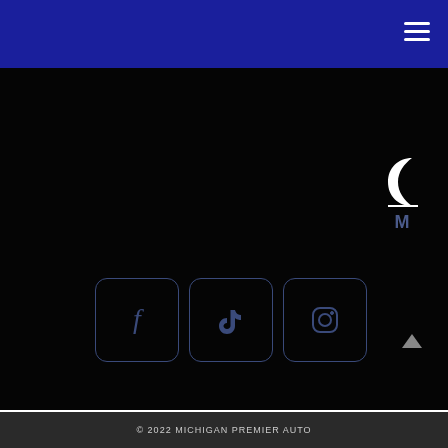Michigan Premier Auto navigation header
[Figure (logo): Michigan Premier Auto logo with crescent/moon graphic and letter M]
[Figure (infographic): Three social media icon boxes: Facebook, TikTok, Instagram with rounded square borders in dark blue on black background]
© 2022 MICHIGAN PREMIER AUTO